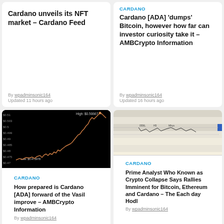Cardano unveils its NFT market – Cardano Feed
By wpadminsonic164
Updated 11 hours ago
CARDANO
Cardano [ADA] 'dumps' Bitcoin, however how far can investor curiosity take it – AMBCrypto Information
By wpadminsonic164
Updated 16 hours ago
[Figure (continuous-plot): Dark background candlestick/line chart showing ADA price with upward trend, High annotation visible, Low: $0.473978 annotated]
CARDANO
How prepared is Cardano [ADA] forward of the Vasil improve – AMBCrypto Information
By wpadminsonic164
[Figure (continuous-plot): Light beige background technical chart with horizontal lines and candlestick/line patterns, blue line visible]
CARDANO
Prime Analyst Who Known as Crypto Collapse Says Rallies Imminent for Bitcoin, Ethereum and Cardano – The Each day Hodl
By wpadminsonic164